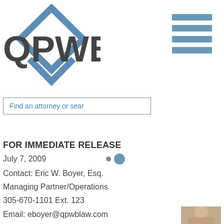[Figure (logo): QPWB law firm logo with diamond/rhombus shape in steel blue and dark gray text 'QPWB']
[Figure (other): Hamburger menu icon with four horizontal blue-gray bars]
Find an attorney or sear
FOR IMMEDIATE RELEASE
July 7, 2009
Contact: Eric W. Boyer, Esq.
Managing Partner/Operations
305-670-1101 Ext. 123
Email: eboyer@qpwblaw.com
QPWB LAWYER OBTAINS DIMISSAL WITH PREJUDICE FOR NATURE COAST HOSPICE CAREGIVER
[Figure (photo): Partial photo of a person visible at bottom right corner of the page]